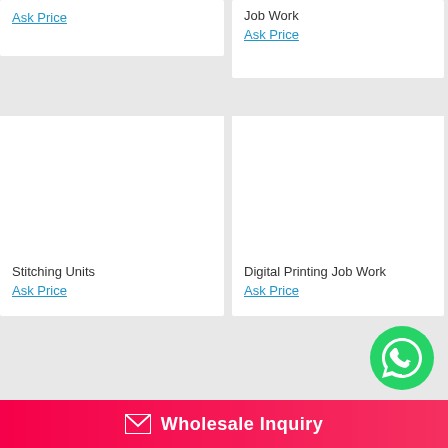Ask Price
Job Work
Ask Price
Stitching Units
Ask Price
Digital Printing Job Work
Ask Price
[Figure (logo): WhatsApp circular green button with white phone/chat icon]
Wholesale Inquiry